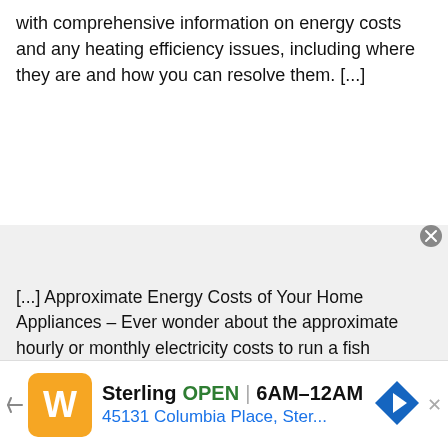with comprehensive information on energy costs and any heating efficiency issues, including where they are and how you can resolve them. [...]
[...] Approximate Energy Costs of Your Home Appliances – Ever wonder about the approximate hourly or monthly electricity costs to run a fish aquarium, or a clothes dryer, or any other electrical appliance in
[Figure (screenshot): Advertisement banner for Wegmans Sterling location: orange logo, 'Sterling OPEN 6AM–12AM', '45131 Columbia Place, Ster...', with navigation icon]